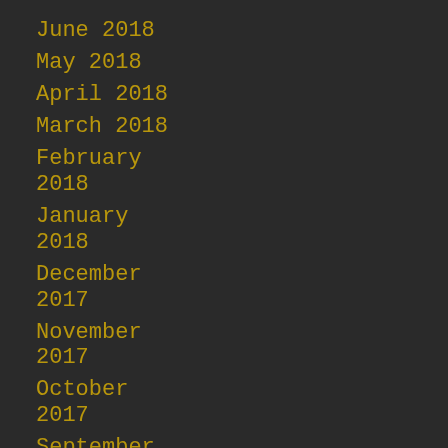June 2018
May 2018
April 2018
March 2018
February 2018
January 2018
December 2017
November 2017
October 2017
September 2017
August